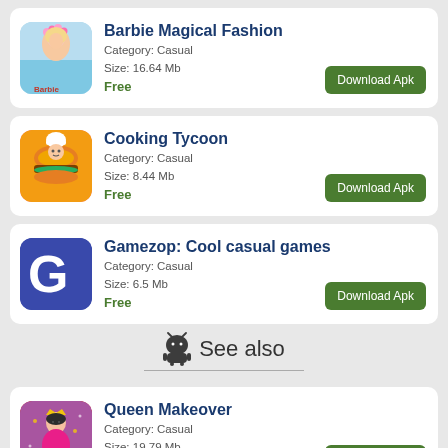[Figure (screenshot): App listing card for Barbie Magical Fashion]
Barbie Magical Fashion
Category: Casual
Size: 16.64 Mb
Free
[Figure (screenshot): App listing card for Cooking Tycoon]
Cooking Tycoon
Category: Casual
Size: 8.44 Mb
Free
[Figure (screenshot): App listing card for Gamezop: Cool casual games]
Gamezop: Cool casual games
Category: Casual
Size: 6.5 Mb
Free
See also
[Figure (screenshot): App listing card for Queen Makeover]
Queen Makeover
Category: Casual
Size: 19.79 Mb
Free